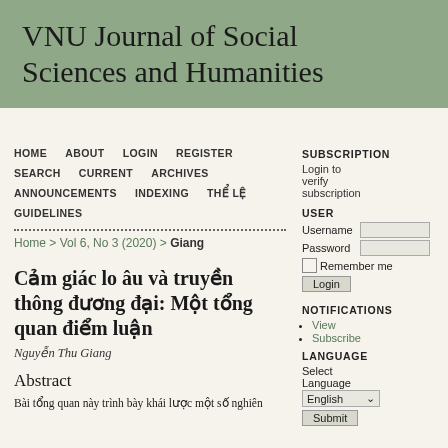VNU Journal of Social Sciences and Humanities
HOME  ABOUT  LOGIN  REGISTER  SEARCH  CURRENT  ARCHIVES  ANNOUNCEMENTS  INDEXING  THỂ LỆ  GUIDELINES
Home > Vol 6, No 3 (2020) > Giang
Cảm giác lo âu và truyền thông đương đại: Một tổng quan điểm luận
Nguyễn Thu Giang
Abstract
Bài tổng quan này trình bày khái lược một số nghiên
SUBSCRIPTION
Login to verify subscription
USER
Username
Password
Remember me
Login
NOTIFICATIONS
View
Subscribe
LANGUAGE
Select Language
English
Submit